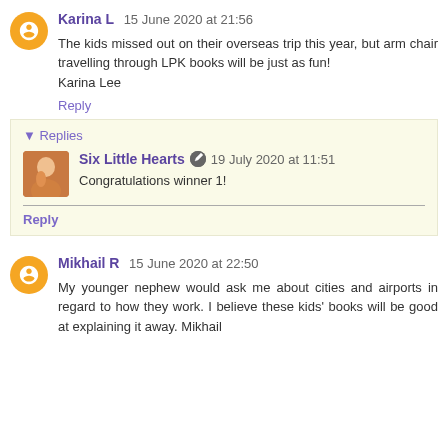Karina L  15 June 2020 at 21:56
The kids missed out on their overseas trip this year, but arm chair travelling through LPK books will be just as fun!
Karina Lee
Reply
▼ Replies
Six Little Hearts  19 July 2020 at 11:51
Congratulations winner 1!
Reply
Mikhail R  15 June 2020 at 22:50
My younger nephew would ask me about cities and airports in regard to how they work. I believe these kids' books will be good at explaining it away. Mikhail